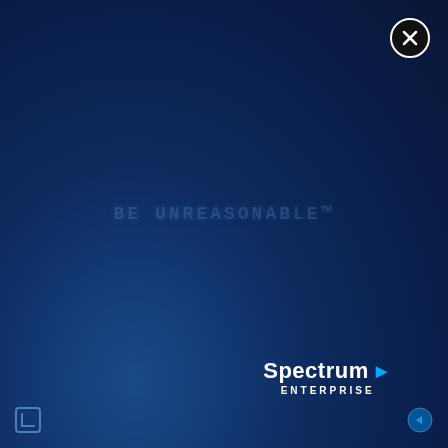[Figure (logo): Dark navy blue gradient background covering the full page]
[Figure (other): Close/dismiss button - black circle with white X in top right corner]
BE UNREASONABLE™
[Figure (logo): Spectrum Enterprise logo in white with blue arrow accent, bottom right area]
[Figure (other): Small square bracket icon in bottom left corner]
[Figure (other): Small arrow/navigation icon in bottom right corner]